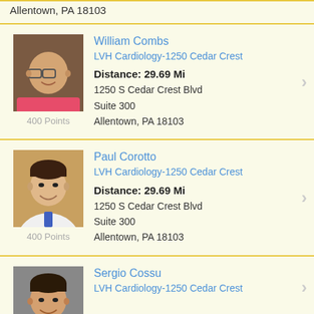Allentown, PA 18103
[Figure (photo): Photo of Dr. William Combs, a bald man with glasses wearing a white coat]
William Combs
LVH Cardiology-1250 Cedar Crest
Distance: 29.69 Mi
1250 S Cedar Crest Blvd
Suite 300
Allentown, PA 18103
400 Points
[Figure (photo): Photo of Dr. Paul Corotto, a young man in white coat with blue tie, smiling]
Paul Corotto
LVH Cardiology-1250 Cedar Crest
Distance: 29.69 Mi
1250 S Cedar Crest Blvd
Suite 300
Allentown, PA 18103
400 Points
[Figure (photo): Photo of Dr. Sergio Cossu, a middle-aged man smiling]
Sergio Cossu
LVH Cardiology-1250 Cedar Crest